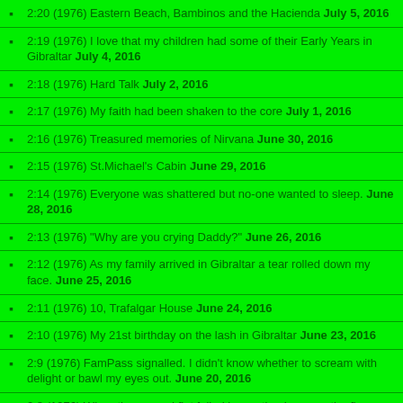2:20 (1976) Eastern Beach, Bambinos and the Hacienda July 5, 2016
2:19 (1976) I love that my children had some of their Early Years in Gibraltar July 4, 2016
2:18 (1976) Hard Talk July 2, 2016
2:17 (1976) My faith had been shaken to the core July 1, 2016
2:16 (1976) Treasured memories of Nirvana June 30, 2016
2:15 (1976) St.Michael's Cabin June 29, 2016
2:14 (1976) Everyone was shattered but no-one wanted to sleep. June 28, 2016
2:13 (1976) "Why are you crying Daddy?" June 26, 2016
2:12 (1976) As my family arrived in Gibraltar a tear rolled down my face. June 25, 2016
2:11 (1976) 10, Trafalgar House June 24, 2016
2:10 (1976) My 21st birthday on the lash in Gibraltar June 23, 2016
2:9 (1976) FamPass signalled. I didn't know whether to scream with delight or bawl my eyes out. June 20, 2016
2:8 (1976) When the second flat failed inspection I was on the floor, hurting. June 19, 2016